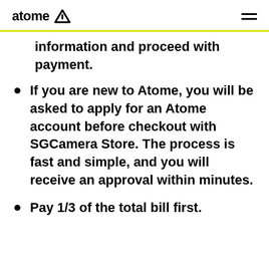atome
information and proceed with payment.
If you are new to Atome, you will be asked to apply for an Atome account before checkout with SGCamera Store. The process is fast and simple, and you will receive an approval within minutes.
Pay 1/3 of the total bill first.